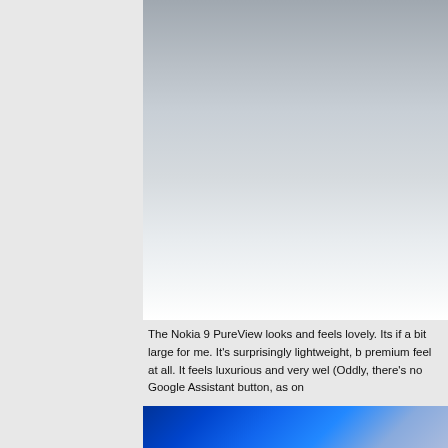Advertisements    article co
[Figure (other): Advertisement area with gradient background transitioning from gray to white]
The Nokia 9 PureView looks and feels lovely. Its if a bit large for me. It's surprisingly lightweight, b premium feel at all. It feels luxurious and very wel (Oddly, there's no Google Assistant button, as on
[Figure (photo): Bottom portion of a Nokia 9 PureView phone with blue background]